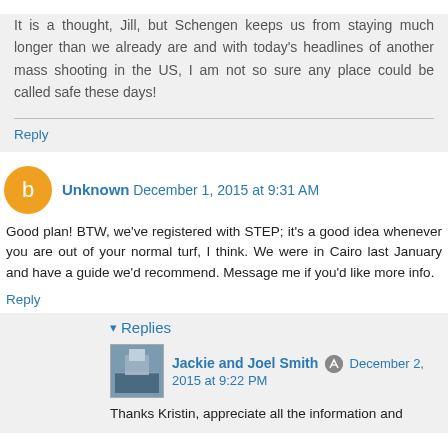It is a thought, Jill, but Schengen keeps us from staying much longer than we already are and with today's headlines of another mass shooting in the US, I am not so sure any place could be called safe these days!
Reply
Unknown December 1, 2015 at 9:31 AM
Good plan! BTW, we've registered with STEP; it's a good idea whenever you are out of your normal turf, I think. We were in Cairo last January and have a guide we'd recommend. Message me if you'd like more info.
Reply
Replies
Jackie and Joel Smith December 2, 2015 at 9:22 PM
Thanks Kristin, appreciate all the information and